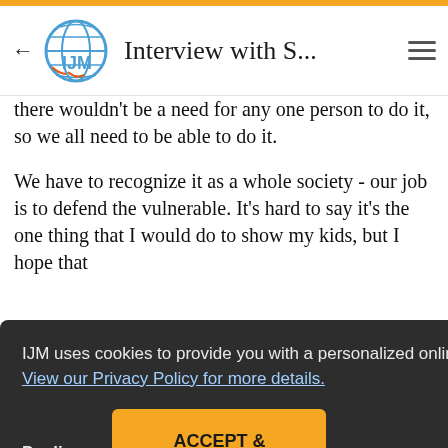Interview with S...
there wouldn't be a need for any one person to do it, so we all need to be able to do it.
We have to recognize it as a whole society - our job is to defend the vulnerable. It's hard to say it's the one thing that I would do to show my kids, but I hope that [text continues] ...nd me.
IJM uses cookies to provide you with a personalized online experience and analyze how our site is used.  View our Privacy Policy for more details.
Decline
ACCEPT & CONTINUE